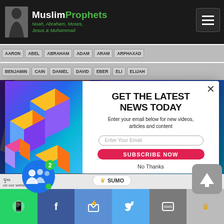MuslimProphets — Noah, Abraham, Moses, Jesus & Muhammad
AARON  ABEL  ABRAHAM  ADAM  ARAM  ARPHAXAD
BENJAMIN  CAIN  DANIEL  DAVID  EBER  ELI  ELIJAH
[Figure (screenshot): Colorful geometric 3D cubic shapes with blue, yellow, orange, pink and purple colors forming the left panel of the popup modal]
GET THE LATEST NEWS TODAY
Enter your email below for new videos, articles and content
Enter Your Email
SUBSCRIBE NOW
No Thanks
SUMO | Social share bar with WhatsApp, Facebook, Like, Twitter, SMS icons. Chat widget showing 2 messages.